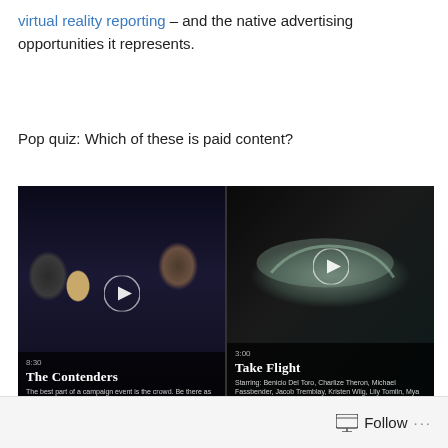virtual reality reporting – and the native advertising opportunities it represents.
Pop quiz: Which of these is paid content?
[Figure (screenshot): Two side-by-side video thumbnails on a dark background. Left: 'The Contenders' (8:30) showing a political crowd scene. Right: 'Take Flight' (3:00) showing a dancer/figure. Both have white play buttons.]
Follow ...